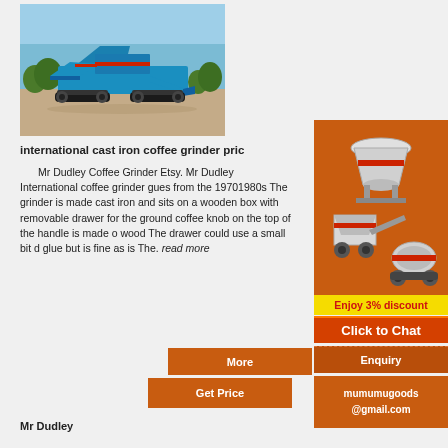[Figure (photo): Blue tracked mobile crushing/screening machine parked on gravel ground with blue sky and trees in background]
international cast iron coffee grinder pric
Mr Dudley Coffee Grinder Etsy. Mr Dudley International coffee grinder guess from the 19701980s The grinder is made cast iron and sits on a wooden box with removable drawer for the ground coffee knob on the top of the handle is made o wood The drawer could use a small bit d glue but is fine as is The. read more
[Figure (illustration): Industrial crusher and mill equipment illustrations on orange background — cone crusher, jaw crusher, ball mill]
Enjoy 3% discount
Click to Chat
Enquiry
mumumugoods@gmail.com
More
Get Price
Mr Dudley